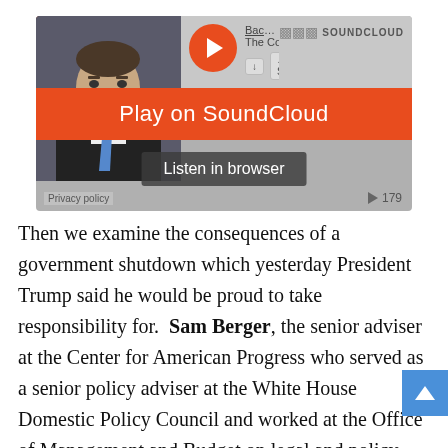[Figure (screenshot): SoundCloud embedded audio player showing a man in a suit with a blue tie. Orange 'Play on SoundCloud' banner across the middle, 'Listen in browser' button below. Shows track title 'Backgroun... The Con', SoundCloud logo, download and share buttons, privacy policy link, and play count of 179.]
Then we examine the consequences of a government shutdown which yesterday President Trump said he would be proud to take responsibility for. Sam Berger, the senior adviser at the Center for American Progress who served as a senior policy adviser at the White House Domestic Policy Council and worked at the Office of Management and Budget on legal and policy issues involving government shutdown and sequestration